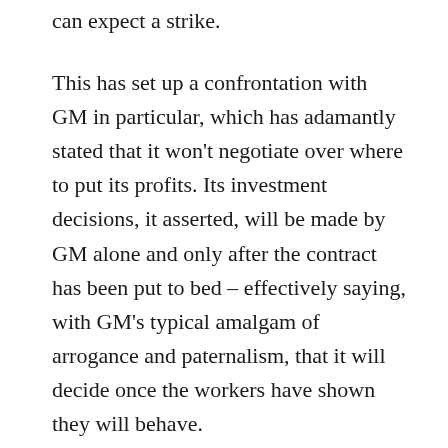can expect a strike.
This has set up a confrontation with GM in particular, which has adamantly stated that it won't negotiate over where to put its profits. Its investment decisions, it asserted, will be made by GM alone and only after the contract has been put to bed – effectively saying, with GM's typical amalgam of arrogance and paternalism, that it will decide once the workers have shown they will behave.
A remarkable aspect of these incompatible stances between GM and Unifor is that both the company and the union are taking different positions than they have in the past. The truth is that when it